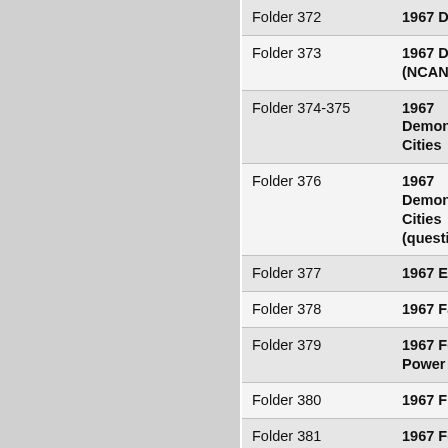| Folder | Title |
| --- | --- |
| Folder 372 | 1967 Defe… |
| Folder 373 | 1967 Defe… (NCANG) |
| Folder 374-375 | 1967 Demonstr… Cities |
| Folder 376 | 1967 Demonstr… Cities (question… |
| Folder 377 | 1967 Edu… |
| Folder 378 | 1967 Fair… |
| Folder 379 | 1967 Fede… Power |
| Folder 380 | 1967 Firea… |
| Folder 381 | 1967 Fore… Policy |
| Folder 382 | 1967 Governme… Federal… |